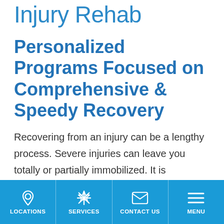Injury Rehab
Personalized Programs Focused on Comprehensive & Speedy Recovery
Recovering from an injury can be a lengthy process. Severe injuries can leave you totally or partially immobilized. It is important to make a full recovery before resuming life as normal. The most efficient and effective recovery process, for most patients, is injury
LOCATIONS | SERVICES | CONTACT US | MENU